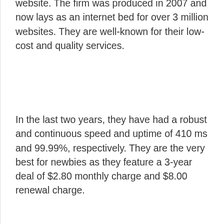website. The firm was produced in 2007 and now lays as an internet bed for over 3 million websites. They are well-known for their low-cost and quality services.
In the last two years, they have had a robust and continuous speed and uptime of 410 ms and 99.99%, respectively. They are the very best for newbies as they feature a 3-year deal of $2.80 monthly charge and $8.00 renewal charge.
After payment of the fee, you are fortunate to have a totally free website home builder, domain name, Joomla, pre-installed WordPress, and a cPanel. Additionally, the standard plan contains a 50 GB SSD storage and unmetered